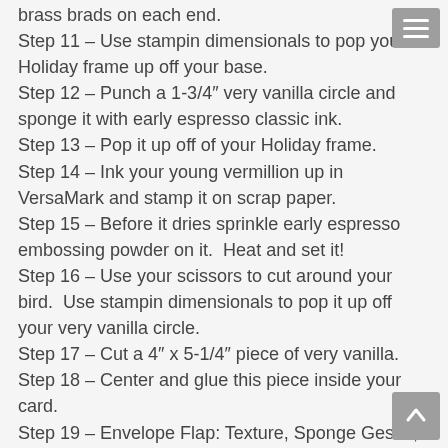brass brads on each end.
Step 11 – Use stampin dimensionals to pop your Holiday frame up off your base.
Step 12 – Punch a 1-3/4″ very vanilla circle and sponge it with early espresso classic ink.
Step 13 – Pop it up off of your Holiday frame.
Step 14 – Ink your young vermillion up in VersaMark and stamp it on scrap paper.
Step 15 – Before it dries sprinkle early espresso embossing powder on it.  Heat and set it!
Step 16 – Use your scissors to cut around your bird.  Use stampin dimensionals to pop it up off your very vanilla circle.
Step 17 – Cut a 4″ x 5-1/4″ piece of very vanilla.
Step 18 – Center and glue this piece inside your card.
Step 19 – Envelope Flap: Texture, Sponge Gesso, and add color back using classic ink pads.